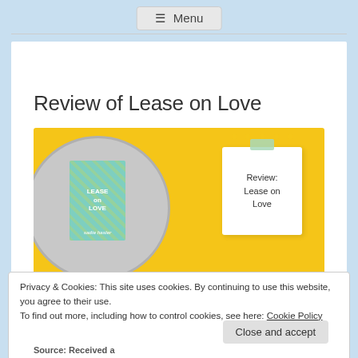≡ Menu
Review of Lease on Love
[Figure (illustration): Yellow banner image with a gray circle containing a person with long hair and a teal book cover reading 'Lease on Love', plus a white notepad with handwritten text 'Review: Lease on Love' pinned with a teal tape strip]
JANUARY 27, 2022
Privacy & Cookies: This site uses cookies. By continuing to use this website, you agree to their use.
To find out more, including how to control cookies, see here: Cookie Policy
Close and accept
Source: Received a